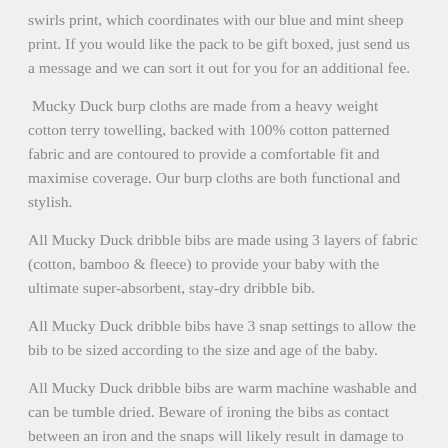swirls print, which coordinates with our blue and mint sheep print. If you would like the pack to be gift boxed, just send us a message and we can sort it out for you for an additional fee.
Mucky Duck burp cloths are made from a heavy weight cotton terry towelling, backed with 100% cotton patterned fabric and are contoured to provide a comfortable fit and maximise coverage. Our burp cloths are both functional and stylish.
All Mucky Duck dribble bibs are made using 3 layers of fabric (cotton, bamboo & fleece) to provide your baby with the ultimate super-absorbent, stay-dry dribble bib.
All Mucky Duck dribble bibs have 3 snap settings to allow the bib to be sized according to the size and age of the baby.
All Mucky Duck dribble bibs are warm machine washable and can be tumble dried. Beware of ironing the bibs as contact between an iron and the snaps will likely result in damage to the snaps.